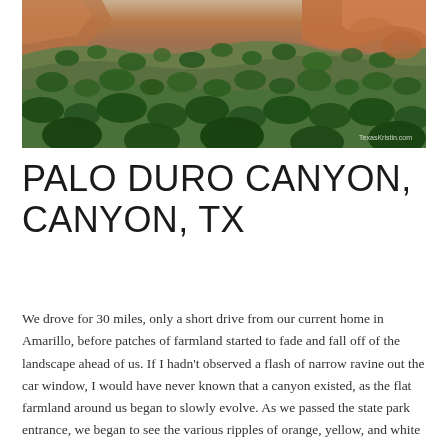[Figure (photo): Aerial/elevated view of Palo Duro Canyon showing rugged terrain with orange and red cliff formations, green shrubs and juniper trees scattered across hillsides, and canyon walls in the background. A small watermark reads 'TexasKristin.com' in the lower right corner.]
PALO DURO CANYON, CANYON, TX
We drove for 30 miles, only a short drive from our current home in Amarillo, before patches of farmland started to fade and fall off of the landscape ahead of us. If I hadn't observed a flash of narrow ravine out the car window, I would have never known that a canyon existed, as the flat farmland around us began to slowly evolve. As we passed the state park entrance, we began to see the various ripples of orange, yellow, and white lining the canyon below. (more…)